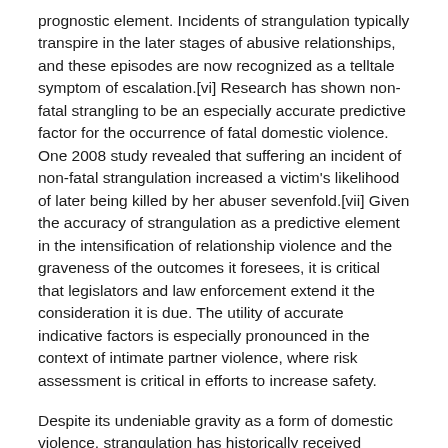prognostic element. Incidents of strangulation typically transpire in the later stages of abusive relationships, and these episodes are now recognized as a telltale symptom of escalation.[vi] Research has shown non-fatal strangling to be an especially accurate predictive factor for the occurrence of fatal domestic violence. One 2008 study revealed that suffering an incident of non-fatal strangulation increased a victim's likelihood of later being killed by her abuser sevenfold.[vii] Given the accuracy of strangulation as a predictive element in the intensification of relationship violence and the graveness of the outcomes it foresees, it is critical that legislators and law enforcement extend it the consideration it is due. The utility of accurate indicative factors is especially pronounced in the context of intimate partner violence, where risk assessment is critical in efforts to increase safety.
Despite its undeniable gravity as a form of domestic violence, strangulation has historically received underwhelming attention. A chief reason for this is the fact that most injuries resulting from strangulation are internal, and lasting external injury is rare.[viii] One